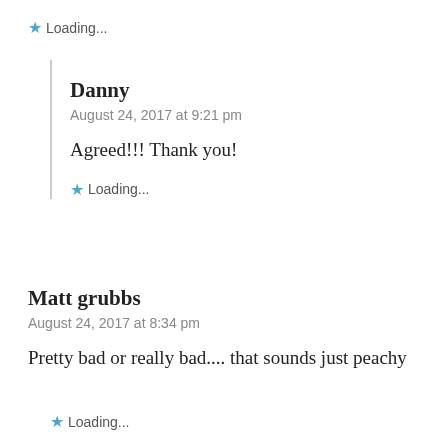★ Loading...
Danny
August 24, 2017 at 9:21 pm
Agreed!!! Thank you!
★ Loading...
Matt grubbs
August 24, 2017 at 8:34 pm
Pretty bad or really bad.... that sounds just peachy
★ Loading...